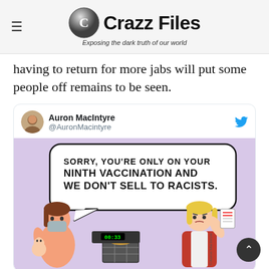Crazz Files — Exposing the dark truth of our world
having to return for more jabs will put some people off remains to be seen.
[Figure (screenshot): Tweet from @AuronMacintyre showing a cartoon where a store cashier tells a masked woman holding a baby: 'SORRY, YOU'RE ONLY ON YOUR NINTH VACCINATION AND WE DON'T SELL TO RACISTS.' The cartoon is set at a checkout counter. Art by Auron MacIntyre.]